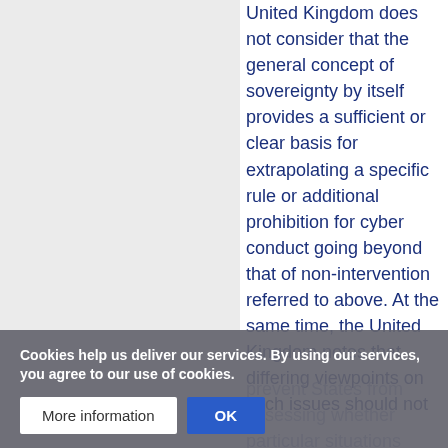United Kingdom does not consider that the general concept of sovereignty by itself provides a sufficient or clear basis for extrapolating a specific rule or additional prohibition for cyber conduct going beyond that of non-intervention referred to above. At the same time, the United Kingdom notes that differing viewpoints on such issues should not prevent States from assessing whether particular situations amount to internationally wrongful acts and arriving at common
Cookies help us deliver our services. By using our services, you agree to our use of cookies.